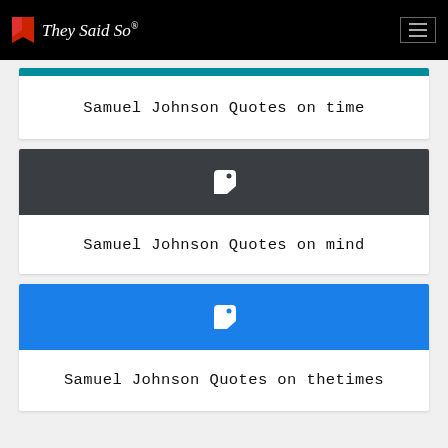They Said So®
Samuel Johnson Quotes on time
[Figure (other): Dark grey card header with white tag/label icon]
Samuel Johnson Quotes on mind
[Figure (other): Blue card header with white tag/label icon]
Samuel Johnson Quotes on thetimes